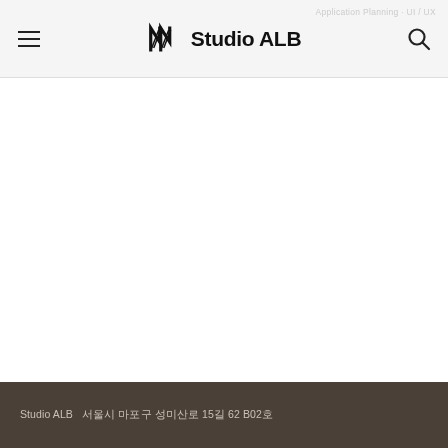Studio ALB
Studio ALB  서울시 마포구 성미산로 15길 62 B02호